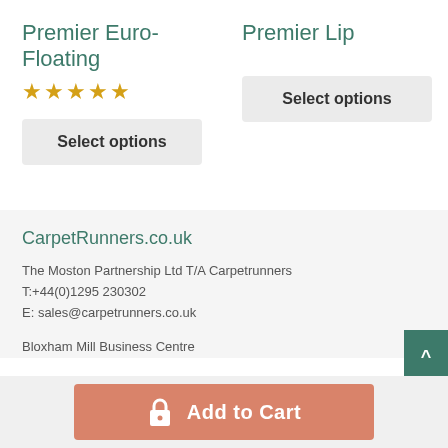Premier Euro-Floating
★★★★★
Select options
Premier Lip
Select options
CarpetRunners.co.uk
The Moston Partnership Ltd T/A Carpetrunners
T:+44(0)1295 230302
E: sales@carpetrunners.co.uk
Bloxham Mill Business Centre
Add to Cart